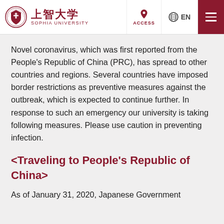上智大学 SOPHIA UNIVERSITY | ACCESS | EN | Menu
Novel coronavirus, which was first reported from the People's Republic of China (PRC), has spread to other countries and regions. Several countries have imposed border restrictions as preventive measures against the outbreak, which is expected to continue further. In response to such an emergency our university is taking following measures. Please use caution in preventing infection.
<Traveling to People's Republic of China>
As of January 31, 2020, Japanese Government